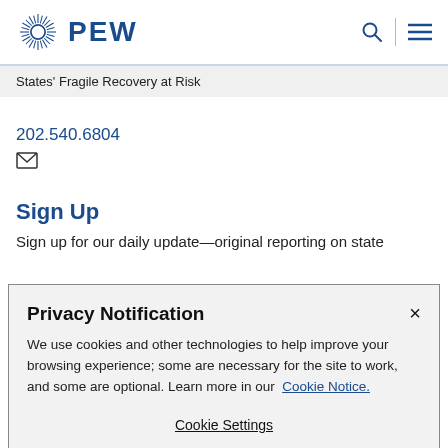PEW
States' Fragile Recovery at Risk
202.540.6804
[Figure (other): Email envelope icon]
Sign Up
Sign up for our daily update—original reporting on state
Privacy Notification
We use cookies and other technologies to help improve your browsing experience; some are necessary for the site to work, and some are optional. Learn more in our Cookie Notice.
Cookie Settings